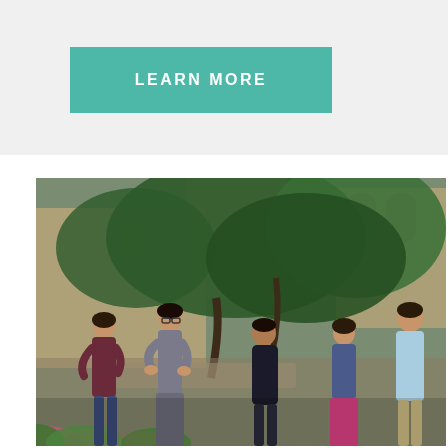LEARN MORE
[Figure (photo): Group of five people standing outdoors in a courtyard or garden area near a stone building with trees, engaged in conversation. Two women on the left, one of whom appears to be a professor or instructor holding materials and speaking, and three students on the right listening.]